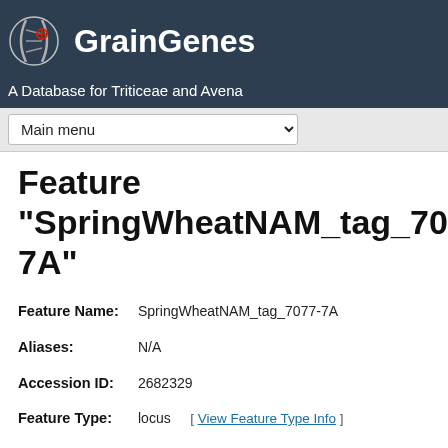GrainGenes — A Database for Triticeae and Avena
Feature "SpringWheatNAM_tag_7077-7A"
| Field | Value |
| --- | --- |
| Feature Name: | SpringWheatNAM_tag_7077-7A |
| Aliases: | N/A |
| Accession ID: | 2682329 |
| Feature Type: | locus  [ View Feature Type Info ] |
|  | Species: Wheat ABD Map Set: Wheat-2018-NAM17-Borkut x ... |